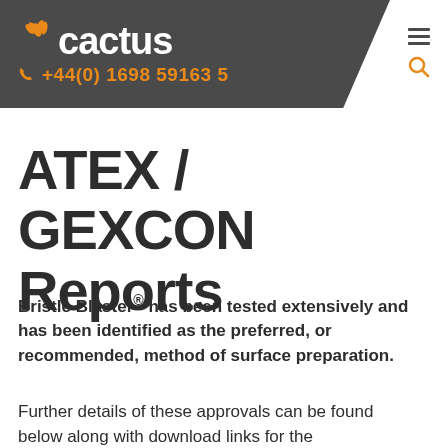cactus +44(0) 1698 59163 5
ATEX / GEXCON Reports
Bristle Blaster® has been tested extensively and has been identified as the preferred, or recommended, method of surface preparation.
Further details of these approvals can be found below along with download links for the